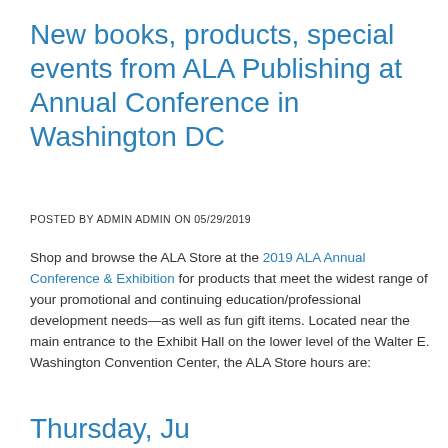New books, products, special events from ALA Publishing at Annual Conference in Washington DC
POSTED BY ADMIN ADMIN ON 05/29/2019
Shop and browse the ALA Store at the 2019 ALA Annual Conference & Exhibition for products that meet the widest range of your promotional and continuing education/professional development needs—as well as fun gift items. Located near the main entrance to the Exhibit Hall on the lower level of the Walter E. Washington Convention Center, the ALA Store hours are:
Thursday, Ju...